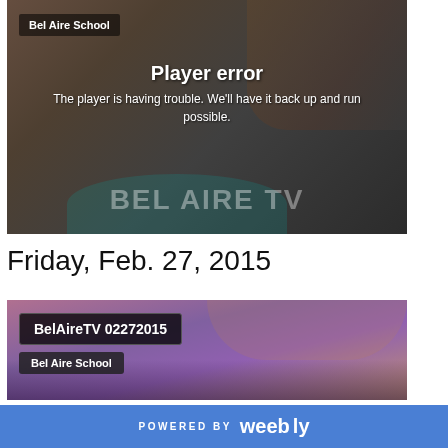[Figure (screenshot): Video player showing a 'Player error' message overlaid on a dark background with a school classroom scene. Label 'Bel Aire School' in top left. Text reads 'Player error' and 'The player is having trouble. We'll have it back up and running as soon as possible.' BEL AIRE TV watermark visible at bottom.]
Friday, Feb. 27, 2015
[Figure (screenshot): Video thumbnail with title 'BelAireTV 02272015' and label 'Bel Aire School'. Purple/sunset sky background with people visible at bottom.]
POWERED BY weebly